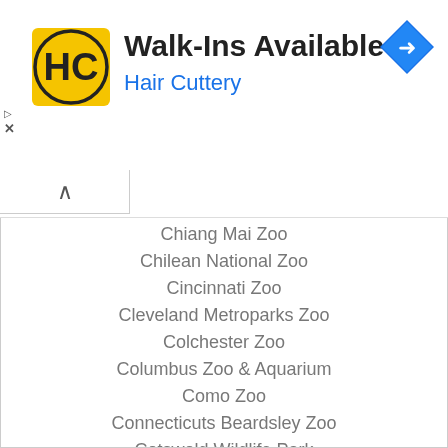[Figure (logo): Hair Cuttery advertisement banner with HC logo, 'Walk-Ins Available' title, 'Hair Cuttery' subtitle in blue, navigation arrow icon top right, and ad controls (play/close) on left side]
Chiang Mai Zoo
Chilean National Zoo
Cincinnati Zoo
Cleveland Metroparks Zoo
Colchester Zoo
Columbus Zoo & Aquarium
Como Zoo
Connecticuts Beardsley Zoo
Cotswold Wildlife Park
Dallas Zoo
Denver Zoo
Detroit Zoo
Disney's Animal Kingdom
Dortmund Zoo
Dreamworld Australia